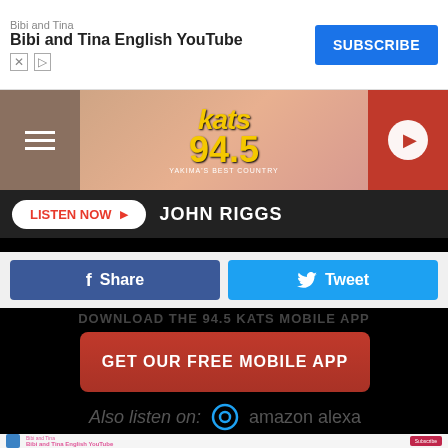[Figure (screenshot): Advertisement banner: Bibi and Tina English YouTube with Subscribe button]
KATS 94.5 radio station header with hamburger menu and play button
LISTEN NOW  JOHN RIGGS
[Figure (screenshot): Social share buttons: Facebook Share and Twitter Tweet]
DOWNLOAD THE 94.5 KATS MOBILE APP
GET OUR FREE MOBILE APP
Also listen on: amazon alexa
[Figure (screenshot): Advertisement banner: Bibi and Tina English YouTube with Subscribe button at bottom]